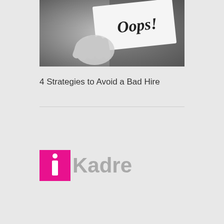[Figure (photo): Black and white photo of a hand holding a sign that says 'Oops!']
4 Strategies to Avoid a Bad Hire
[Figure (logo): iKadre logo: magenta square with white italic 'i' and dot, followed by 'Kadre' in gray text]